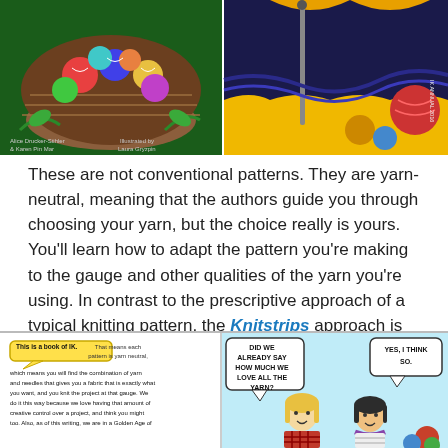[Figure (illustration): Two side-by-side colorful illustrations. Left: a knitting basket filled with colorful yarn balls, illustrated comic-book style with green basket and multicolored yarn. Right: a dark blue/indigo knitted project being worked on with needles, on an orange background.]
These are not conventional patterns. They are yarn-neutral, meaning that the authors guide you through choosing your yarn, but the choice really is yours. You'll learn how to adapt the pattern you're making to the gauge and other qualities of the yarn you're using. In contrast to the prescriptive approach of a typical knitting pattern, the Knitstrips approach is open ended and full of learning. As I read through these energy-filled pages, I had renewed appreciation for how much thought and engineering goes into the most familiar handknit.
[Figure (illustration): Two side-by-side comic/graphic-novel style panels. Left panel: white background with a yellow speech bubble saying 'This is a book of IK.' followed by text beginning 'That means each pattern is yarn neutral which means you will find the combination of yarn and needles that gives you a fabric that is exactly what you want, and you knit the project at that gauge. We do it this way because we love having that amount of creative control over a project, and think you might too. Also, as of this writing, we are in a Golden Age of'. Right panel: light blue background with two cartoon women (one blonde in plaid, one dark-haired) with speech bubbles: left bubble says 'DID WE ALREADY SAY HOW MUCH WE LOVE ALL THE YARN?' and right bubble says 'YES, I THINK SO.']